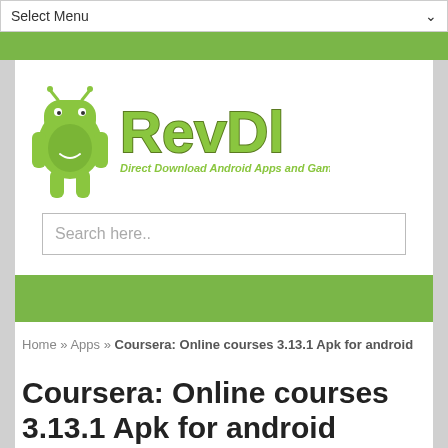Select Menu
[Figure (logo): RevDl logo — large green cartoon Android robot with 'RevDl' text in green and 'Direct Download Android Apps and Games' tagline]
Search here..
Home » Apps » Coursera: Online courses 3.13.1 Apk for android
Coursera: Online courses 3.13.1 Apk for android